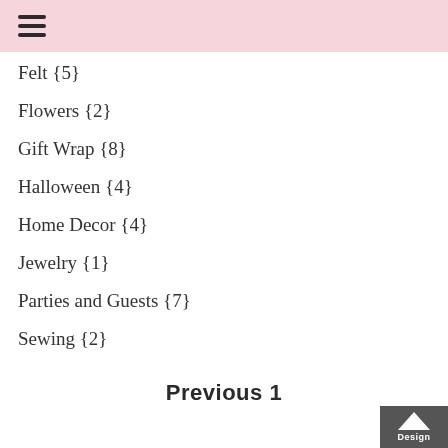≡ (hamburger menu icon)
Felt {5}
Flowers {2}
Gift Wrap {8}
Halloween {4}
Home Decor {4}
Jewelry {1}
Parties and Guests {7}
Sewing {2}
Previous 1